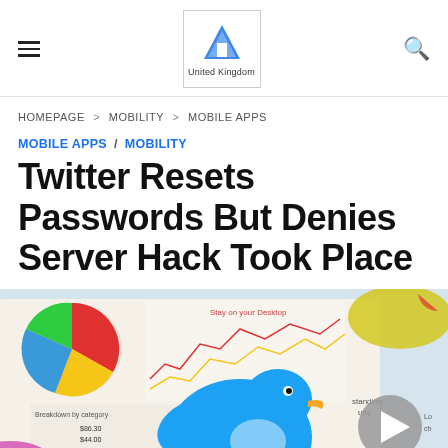≡  [Logo: United Kingdom]  🔍
HOMEPAGE > MOBILITY > MOBILE APPS
MOBILE APPS / MOBILITY
Twitter Resets Passwords But Denies Server Hack Took Place
[Figure (photo): Hero image showing financial charts with pie charts and line graphs on paper, with a blue Twitter bird logo overlaid in the center, and a circular play button on the right side.]